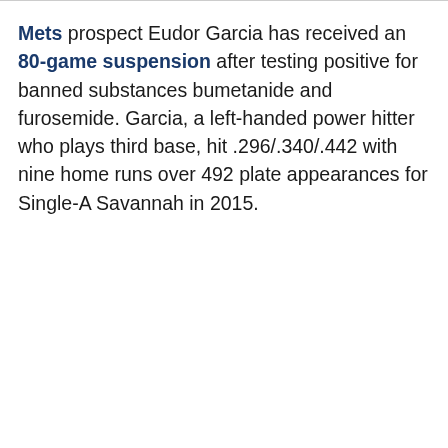Mets prospect Eudor Garcia has received an 80-game suspension after testing positive for banned substances bumetanide and furosemide. Garcia, a left-handed power hitter who plays third base, hit .296/.340/.442 with nine home runs over 492 plate appearances for Single-A Savannah in 2015.